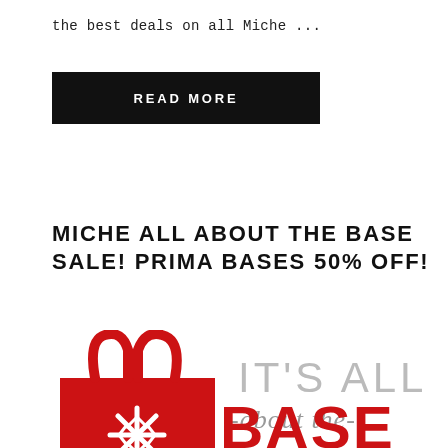the best deals on all Miche ...
READ MORE
MICHE ALL ABOUT THE BASE SALE! PRIMA BASES 50% OFF!
[Figure (illustration): Promotional graphic showing a red handbag with a snowflake design on the left, and large text on the right reading IT'S ALL -about the- BASE in mixed gray italic and red bold fonts.]